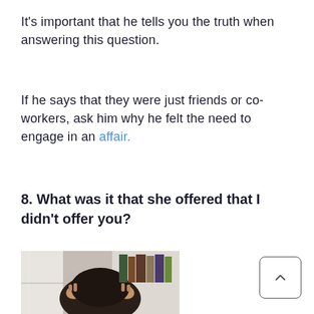It’s important that he tells you the truth when answering this question.
If he says that they were just friends or co-workers, ask him why he felt the need to engage in an affair.
8. What was it that she offered that I didn’t offer you?
[Figure (photo): Person sitting with head down, hands clasped behind head, bookshelves in background]
[Figure (other): Scroll-to-top button with upward caret arrow]